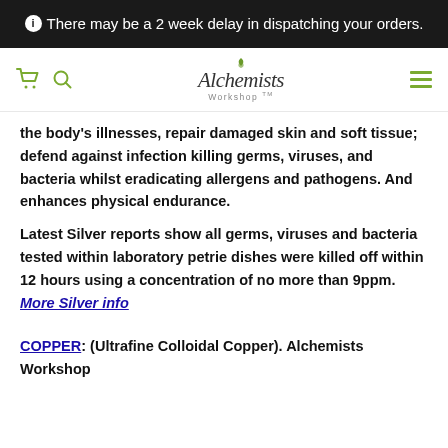ℹ There may be a 2 week delay in dispatching your orders.
[Figure (logo): Alchemists Workshop TM logo with green leaf icon, cart and search icons on left, hamburger menu on right]
the body's illnesses, repair damaged skin and soft tissue; defend against infection killing germs, viruses, and bacteria whilst eradicating allergens and pathogens. And enhances physical endurance.
Latest Silver reports show all germs, viruses and bacteria tested within laboratory petrie dishes were killed off within 12 hours using a concentration of no more than 9ppm. More Silver info
COPPER: (Ultrafine Colloidal Copper). Alchemists Workshop